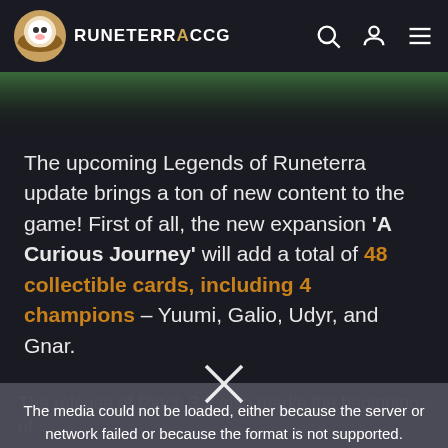RUNETERRACCG
The upcoming Legends of Runeterra update brings a ton of new content to the game! First of all, the new expansion 'A Curious Journey' will add a total of 48 collectible cards, including 4 champions – Yuumi, Galio, Udyr, and Gnar.
[Figure (screenshot): Partially loaded video player showing a dark scene on the left and 'Riot Games Improving Fracture map in Valorant' text on the right panel with a close button]
The media could not be loaded, either because the server or network failed or because the format is not supported.
The release of Patch 3.2 also marks the beginning of